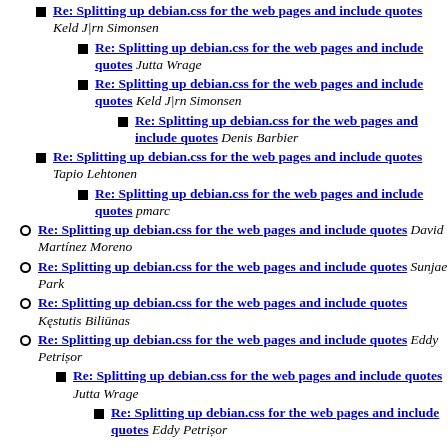Re: Splitting up debian.css for the web pages and include quotes Keld J|rn Simonsen
Re: Splitting up debian.css for the web pages and include quotes Jutta Wrage
Re: Splitting up debian.css for the web pages and include quotes Keld J|rn Simonsen
Re: Splitting up debian.css for the web pages and include quotes Denis Barbier
Re: Splitting up debian.css for the web pages and include quotes Tapio Lehtonen
Re: Splitting up debian.css for the web pages and include quotes pmarc
Re: Splitting up debian.css for the web pages and include quotes David Martínez Moreno
Re: Splitting up debian.css for the web pages and include quotes Sunjae Park
Re: Splitting up debian.css for the web pages and include quotes Kęstutis Biliūnas
Re: Splitting up debian.css for the web pages and include quotes Eddy Petrișor
Re: Splitting up debian.css for the web pages and include quotes Jutta Wrage
Re: Splitting up debian.css for the web pages and include quotes Eddy Petrișor